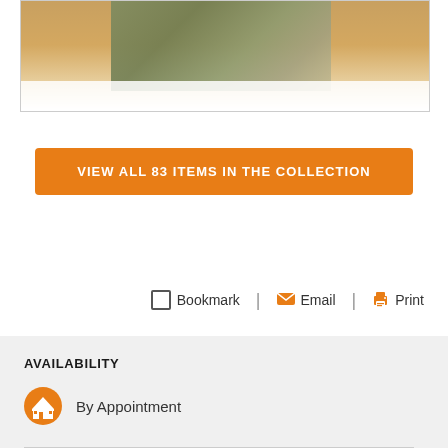[Figure (photo): Partial photo of an outdoor scene with trees and pavement, with a tan/gold gradient background]
VIEW ALL 83 ITEMS IN THE COLLECTION
Bookmark  Email  Print
AVAILABILITY
By Appointment